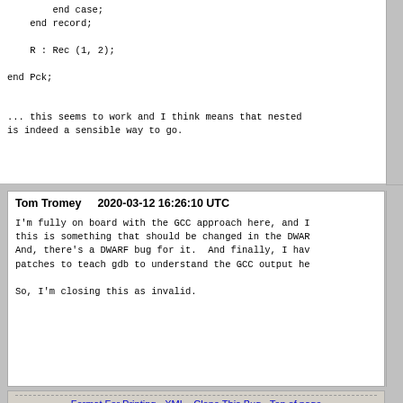end case;
    end record;

    R : Rec (1, 2);

end Pck;

... this seems to work and I think means that nested
is indeed a sensible way to go.
Tom Tromey    2020-03-12 16:26:10 UTC
I'm fully on board with the GCC approach here, and I
this is something that should be changed in the DWAR
And, there's a DWARF bug for it.  And finally, I hav
patches to teach gdb to understand the GCC output he

So, I'm closing this as invalid.
Format For Printing - XML - Clone This Bug - Top of page
Home | New | Browse | Search | Search | [?] | Reports | Help | New Account | Log In | Forgot Password